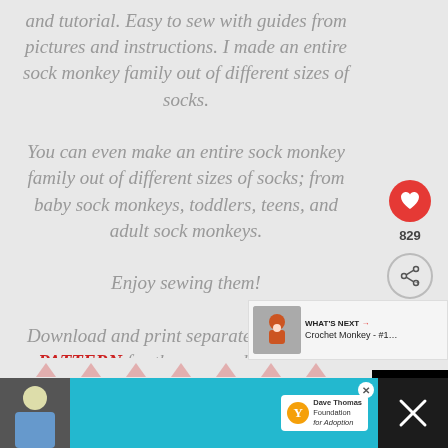and tutorial. Easy to sew with guides from pictures and instructions. I made an entire sock monkey family out of different sizes of socks.
You can even make an entire sock monkey family out of different sizes of socks; from baby sock monkeys, toddlers, teens, and adult sock monkeys.
Enjoy sewing them!
Download and print separately SEWING PATTERN for the eyes and pattern for drawing the s…
[Figure (screenshot): UI overlay with heart/like button showing 829 likes, share button, and What's Next panel showing Crochet Monkey #1]
[Figure (photo): Advertisement bar at bottom showing a young man, Dave Thomas Foundation for Adoption logo on teal background]